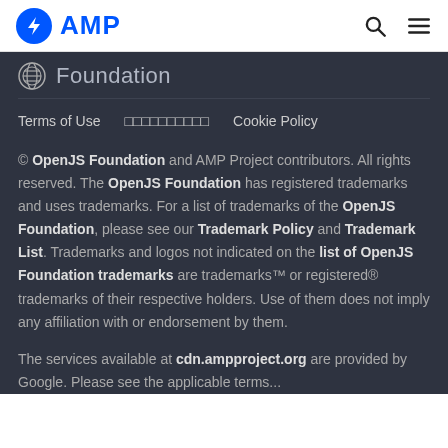AMP
Foundation
Terms of Use    □□□□□□□□□□    Cookie Policy
© OpenJS Foundation and AMP Project contributors. All rights reserved. The OpenJS Foundation has registered trademarks and uses trademarks. For a list of trademarks of the OpenJS Foundation, please see our Trademark Policy and Trademark List. Trademarks and logos not indicated on the list of OpenJS Foundation trademarks are trademarks™ or registered® trademarks of their respective holders. Use of them does not imply any affiliation with or endorsement by them.
The services available at cdn.ampproject.org are provided by Google. Please see the applicable terms...